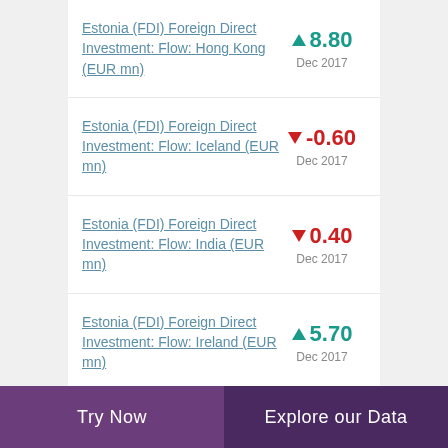Estonia (FDI) Foreign Direct Investment: Flow: Hong Kong (EUR mn)
Estonia (FDI) Foreign Direct Investment: Flow: Iceland (EUR mn)
Estonia (FDI) Foreign Direct Investment: Flow: India (EUR mn)
Estonia (FDI) Foreign Direct Investment: Flow: Ireland (EUR mn)
Try Now | Explore our Data